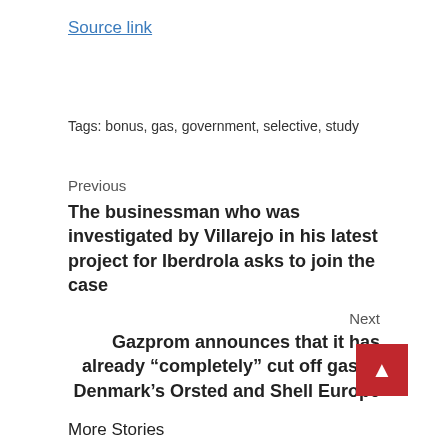Source link
Tags: bonus, gas, government, selective, study
Previous
The businessman who was investigated by Villarejo in his latest project for Iberdrola asks to join the case
Next
Gazprom announces that it has already “completely” cut off gas to Denmark’s Orsted and Shell Europe
More Stories